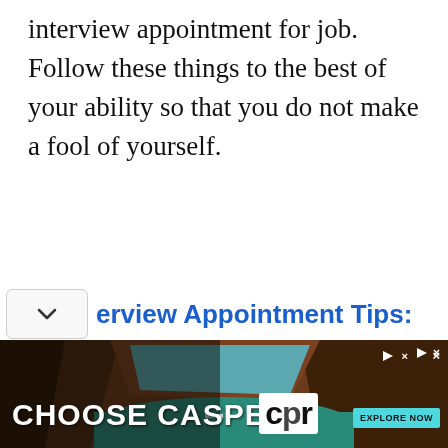interview appointment for job. Follow these things to the best of your ability so that you do not make a fool of yourself.
erview Appointment Tips:
[Figure (photo): Advertisement banner showing 'CHOOSE CASPER' text over a scenic canyon/lake landscape photo, with a CPR logo and 'EXPLORE NOW' button]